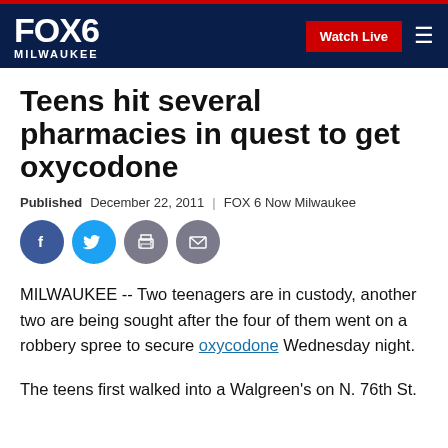FOX6 MILWAUKEE | Watch Live
Teens hit several pharmacies in quest to get oxycodone
Published December 22, 2011 | FOX 6 Now Milwaukee
[Figure (other): Social share buttons: Facebook, Twitter, Print, Email]
MILWAUKEE -- Two teenagers are in custody, another two are being sought after the four of them went on a robbery spree to secure oxycodone Wednesday night.
The teens first walked into a Walgreen's on N. 76th St.